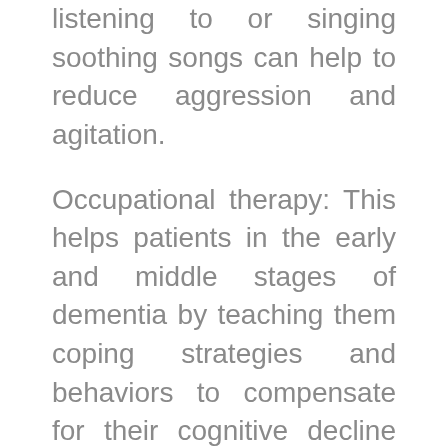listening to or singing soothing songs can help to reduce aggression and agitation.
Occupational therapy: This helps patients in the early and middle stages of dementia by teaching them coping strategies and behaviors to compensate for their cognitive decline and memory loss. It also helps their families make their homes safer for their loved one and provide techniques for managing difficult behaviors.
Pet therapy: This can help reduce irritability, agitation, anxiety, depression, and even loneliness. Many communities offering memory care usually have a pet resident or provide pet therapy. Seniors in such communities can enjoy the companionship of